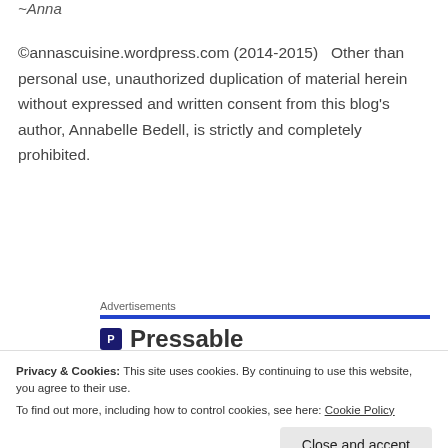~Anna
©annascuisine.wordpress.com (2014-2015)   Other than personal use, unauthorized duplication of material herein without expressed and written consent from this blog's author, Annabelle Bedell, is strictly and completely prohibited.
Advertisements
[Figure (logo): Pressable logo with blue P icon and bold Pressable text]
Privacy & Cookies: This site uses cookies. By continuing to use this website, you agree to their use.
To find out more, including how to control cookies, see here: Cookie Policy
Close and accept